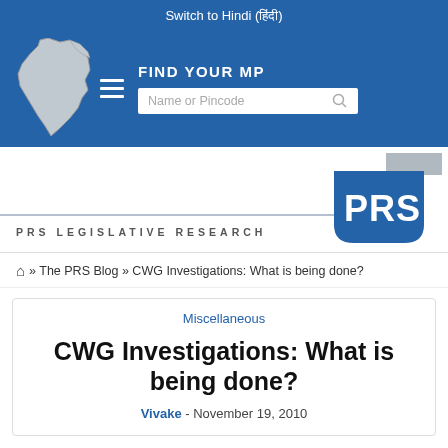Switch to Hindi (हिंदी)
[Figure (screenshot): PRS Legislative Research website navigation bar with India map graphic, hamburger menu, FIND YOUR MP label and search box with Name or Pincode placeholder]
[Figure (logo): PRS Legislative Research logo with blue shield badge showing PRS text and horizontal line with PRS LEGISLATIVE RESEARCH text]
⌂ » The PRS Blog » CWG Investigations: What is being done?
Miscellaneous
CWG Investigations: What is being done?
Vivake - November 19, 2010